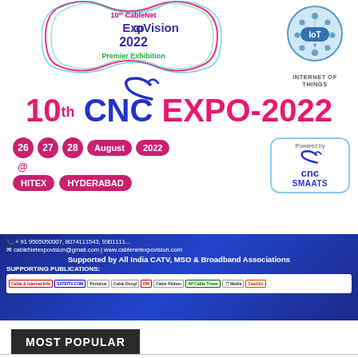[Figure (logo): 10th CableNet ExpoVision 2022 Premier Exhibition logo with wavy border in pink, blue, and green]
[Figure (logo): IoT Internet of Things circular logo with icons]
[Figure (logo): CNC swoosh/bird logo in blue]
10th CNC EXPO-2022
26 27 28 August 2022 @ HITEX HYDERABAD
[Figure (logo): CNC Smaats powered by logo]
+ 91 9505050007, 8074111543, 9301111...
cableNetexpovision@gmail.com | www.cablenetexpovision.com
Supported by All India CATV, MSO & Broadband Associations
SUPPORTING PUBLICATIONS:
[Figure (logo): Row of supporting publication logos: Cable & Internet Info, SATEITV.COM, Portalcar, Cable Doogl, DM, Cable Ribbon, AP Cable Times, and others]
MOST POPULAR